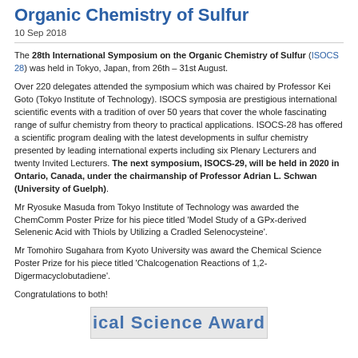28th International Symposium on the Organic Chemistry of Sulfur
10 Sep 2018
The 28th International Symposium on the Organic Chemistry of Sulfur (ISOCS 28) was held in Tokyo, Japan, from 26th – 31st August.
Over 220 delegates attended the symposium which was chaired by Professor Kei Goto (Tokyo Institute of Technology). ISOCS symposia are prestigious international scientific events with a tradition of over 50 years that cover the whole fascinating range of sulfur chemistry from theory to practical applications. ISOCS-28 has offered a scientific program dealing with the latest developments in sulfur chemistry presented by leading international experts including six Plenary Lecturers and twenty Invited Lecturers. The next symposium, ISOCS-29, will be held in 2020 in Ontario, Canada, under the chairmanship of Professor Adrian L. Schwan (University of Guelph).
Mr Ryosuke Masuda from Tokyo Institute of Technology was awarded the ChemComm Poster Prize for his piece titled 'Model Study of a GPx-derived Selenenic Acid with Thiols by Utilizing a Cradled Selenocysteine'.
Mr Tomohiro Sugahara from Kyoto University was award the Chemical Science Poster Prize for his piece titled 'Chalcogenation Reactions of 1,2-Digermacyclobutadiene'.
Congratulations to both!
[Figure (other): Partial banner image showing text 'ical Science Award']